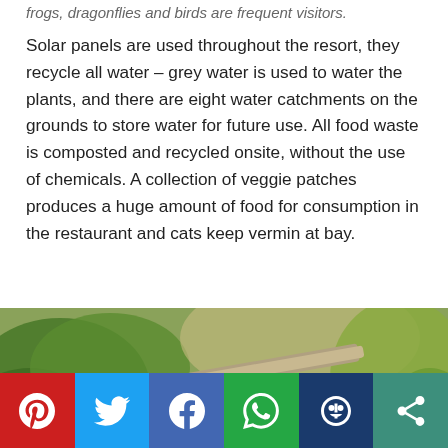frogs, dragonflies and birds are frequent visitors.
Solar panels are used throughout the resort, they recycle all water – grey water is used to water the plants, and there are eight water catchments on the grounds to store water for future use. All food waste is composted and recycled onsite, without the use of chemicals. A collection of veggie patches produces a huge amount of food for consumption in the restaurant and cats keep vermin at bay.
[Figure (photo): Outdoor photograph showing a stone water catchment or cistern surrounded by lush green tropical vegetation and plants.]
Social sharing bar with Pinterest, Twitter, Facebook, WhatsApp, and other share buttons